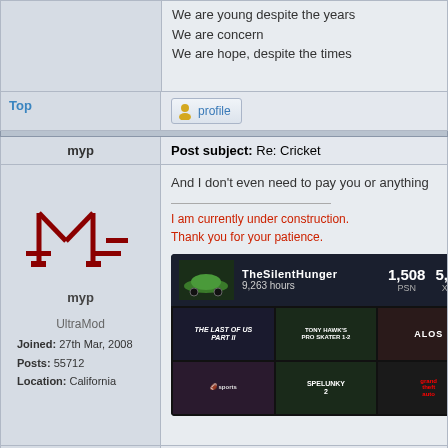We are young despite the years
We are concern
We are hope, despite the times
Top
[Figure (screenshot): Profile button with user icon]
myp
Post subject: Re: Cricket
[Figure (illustration): myp user avatar with stylized M logo in dark red]
UltraMod
Joined: 27th Mar, 2008
Posts: 55712
Location: California
And I don't even need to pay you or anything
I am currently under construction.
Thank you for your patience.
[Figure (screenshot): PlayStation gaming card for TheSilentHunger showing 9,263 hours, 1,508 PSN, 5,235 XBOX, with game thumbnails: The Last of Us Part II, Tony Hawk's Pro Skater 1+2, ALOS, a sports game, Spelunky 2, Grand Theft Auto]
Top
[Figure (screenshot): Profile button with user icon]